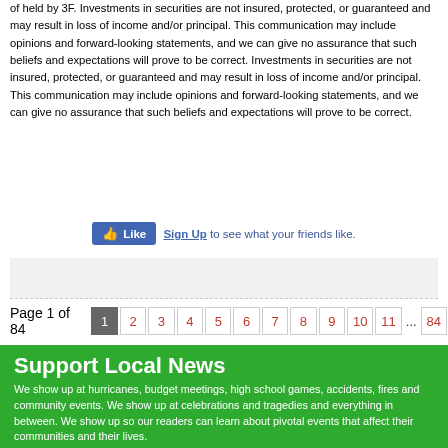of held by 3F. Investments in securities are not insured, protected, or guaranteed and may result in loss of income and/or principal. This communication may include opinions and forward-looking statements, and we can give no assurance that such beliefs and expectations will prove to be correct. Investments in securities are not insured, protected, or guaranteed and may result in loss of income and/or principal. This communication may include opinions and forward-looking statements, and we can give no assurance that such beliefs and expectations will prove to be correct.
[Figure (other): Facebook Like button widget with 'Sign Up to see what your friends like.']
Page 1 of 84  1  2  3  4  5  6  7  8  9  10  11  ...  84
Support Local News
We show up at hurricanes, budget meetings, high school games, accidents, fires and community events. We show up at celebrations and tragedies and everything in between. We show up so our readers can learn about pivotal events that affect their communities and their lives.
How important is local news to you? You can support independent, unbiased journalism...